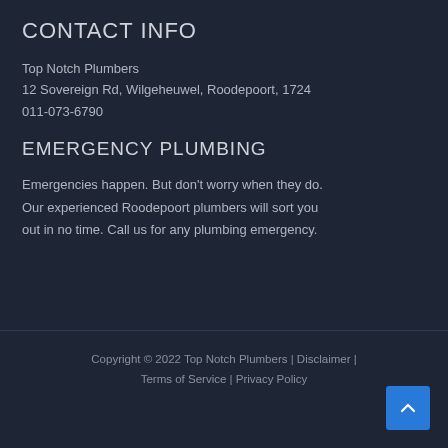CONTACT INFO
Top Notch Plumbers
12 Sovereign Rd, Wilgeheuwel, Roodepoort, 1724
011-073-6790
EMERGENCY PLUMBING
Emergencies happen. But don't worry when they do. Our experienced Roodepoort plumbers will sort you out in no time. Call us for any plumbing emergency.
Copyright © 2022 Top Notch Plumbers | Disclaimer | Terms of Service | Privacy Policy